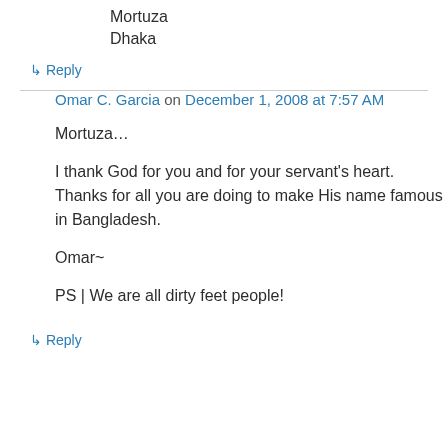Mortuza
Dhaka
↳ Reply
Omar C. Garcia on December 1, 2008 at 7:57 AM
Mortuza…
I thank God for you and for your servant's heart. Thanks for all you are doing to make His name famous in Bangladesh.
Omar~
PS | We are all dirty feet people!
↳ Reply